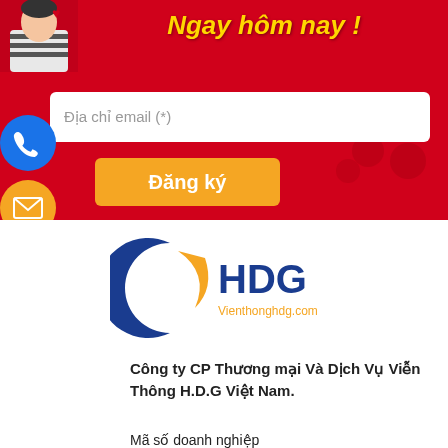[Figure (illustration): Red banner with person image top-left, decorative dots bottom-right, email input field, and Đăng ký button]
Ngay hôm nay !
Địa chỉ email (*)
Đăng ký
[Figure (logo): HDG Vienthonghdg.com logo with blue crescent and orange swoosh]
Công ty CP Thương mại Và Dịch Vụ Viễn Thông H.D.G Việt Nam.
Mã số doanh nghiệp